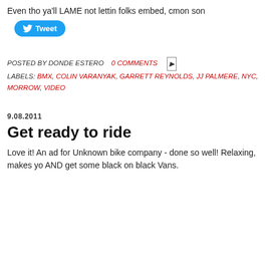Even tho ya'll LAME not lettin folks embed, cmon son
[Figure (other): Twitter Tweet button (blue rounded rectangle with bird icon and 'Tweet' text)]
POSTED BY DONDE ESTERO   0 COMMENTS
LABELS: BMX, COLIN VARANYAK, GARRETT REYNOLDS, JJ PALMERE, NYC, MORROW, VIDEO
9.08.2011
Get ready to ride
Love it! An ad for Unknown bike company - done so well! Relaxing, makes you AND get some black on black Vans.